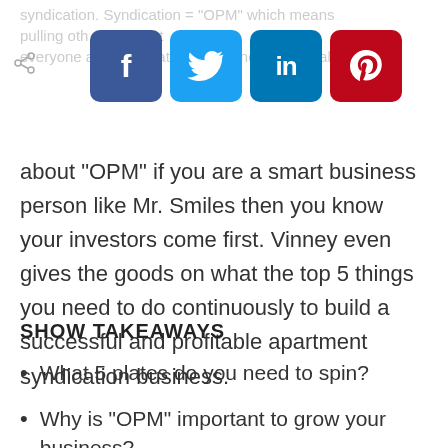syndication. Syndication = "OPM" which means pulling oth... ne... make everyone a profit. That is what syndication is all
[Figure (infographic): Social share buttons: Facebook (blue), Twitter (light blue), LinkedIn (dark blue), Pinterest (red)]
about "OPM" if you are a smart business person like Mr. Smiles then you know your investors come first. Vinney even gives the goods on what the top 5 things you need to do continuously to build a successful and profitable apartment syndication business.
SHOW TAKEAWAYS
What 5 plates do you need to spin?
Why is "OPM" important to grow your business?